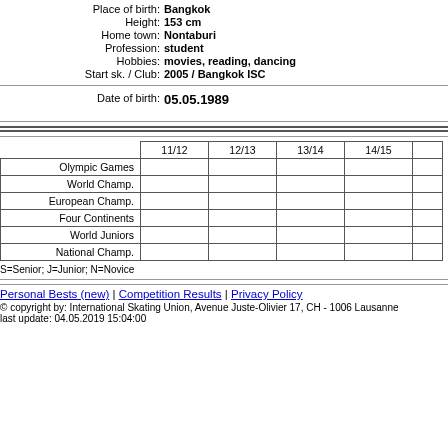Place of birth: Bangkok
Height: 153 cm
Home town: Nontaburi
Profession: student
Hobbies: movies, reading, dancing
Start sk. / Club: 2005 / Bangkok ISC
Date of birth: 05.05.1989
|  | 11/12 | 12/13 | 13/14 | 14/15 |
| --- | --- | --- | --- | --- |
| Olympic Games |  |  |  |  |
| World Champ. |  |  |  |  |
| European Champ. |  |  |  |  |
| Four Continents |  |  |  |  |
| World Juniors |  |  |  |  |
| National Champ. |  |  |  |  |
S=Senior; J=Junior; N=Novice
Personal Bests (new) | Competition Results | Privacy Policy
© copyright by: International Skating Union, Avenue Juste-Olivier 17, CH - 1006 Lausanne
last update: 04.05.2019 15:04:00